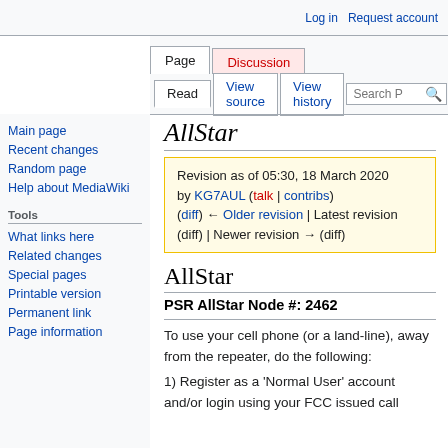Log in   Request account
Page  Discussion  Read  View source  View history  Search P
AllStar
Revision as of 05:30, 18 March 2020 by KG7AUL (talk | contribs) (diff) ← Older revision | Latest revision (diff) | Newer revision → (diff)
AllStar
PSR AllStar Node #: 2462
To use your cell phone (or a land-line), away from the repeater, do the following:
1) Register as a 'Normal User' account and/or login using your FCC issued call
Main page
Recent changes
Random page
Help about MediaWiki
Tools
What links here
Related changes
Special pages
Printable version
Permanent link
Page information